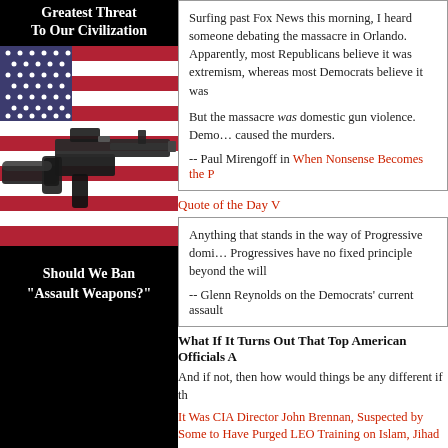Greatest Threat To Our Civilization
[Figure (photo): Assault rifle (AR-15 style) resting on an American flag]
Should We Ban "Assault Weapons?"
Surfing past Fox News this morning, I heard someone debating the massacre in Orlando. Apparently, most Republicans believe it was extremism, whereas most Democrats believe it was domestic gun violence.
But the massacre was domestic gun violence. Democrats are right about what caused the murders.
-- Paul Mirengoff in When Nonsense Becomes the P
Quote of the Day V
Anything that stands in the way of Progressive dominance is wrong. Progressives have no fixed principle beyond the will to power.
-- Glenn Reynolds on the Democrats' current assault
What If It Turns Out That Top American Officials A
And if not, then how would things be any different if th
It Was CIA Director John Brennan, Suspected by Some to Have Purged LEO Training on Islam, Jihad
FBI Suppresses All ISIS References in Transcripts of M
Syrian Immigrant Who Said 9/11 'Changed The World For the Better' is Homeland Security Adviser